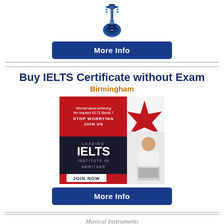[Figure (illustration): Electric guitar (bass guitar) icon in blue/dark tones, viewed from front]
More Info
[Figure (infographic): IELTS advertisement image: red background with text 'Worried about achieving the required IELTS Bands? STOP WORRYING JOIN US', 'LEADING IELTS INSTITUTE IN AMRITSAR', 'JOIN NOW', Canadian maple leaf flag, woman smiling with laptop]
Buy IELTS Certificate without Exam
Birmingham
More Info
Musical Instruments
Fender Telecaster